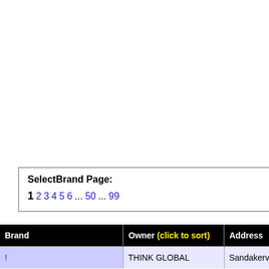SelectBrand Page: 1 2 3 4 5 6 ... 50 ... 99
| Brand | Owner (click to sort) | Address |
| --- | --- | --- |
| ! | THINK GLOBAL | Sandakerveien 2 |